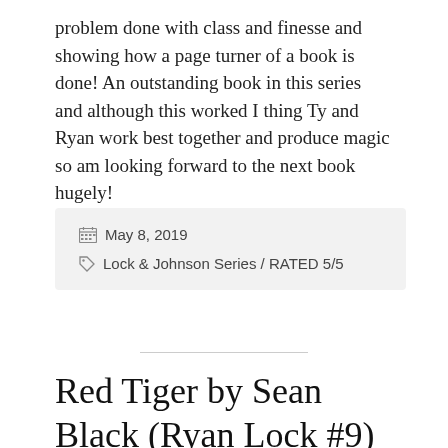problem done with class and finesse and showing how a page turner of a book is done! An outstanding book in this series and although this worked I thing Ty and Ryan work best together and produce magic so am looking forward to the next book hugely!
May 8, 2019
Lock & Johnson Series / RATED 5/5
Red Tiger by Sean Black (Ryan Lock #9)